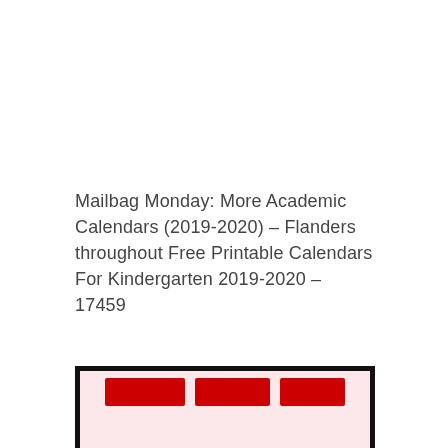Mailbag Monday: More Academic Calendars (2019-2020) – Flanders throughout Free Printable Calendars For Kindergarten 2019-2020 – 17459
[Figure (screenshot): Partially visible screenshot of a printable calendar page with a black border and red text on a light pink/white background, cropped at the bottom of the page.]